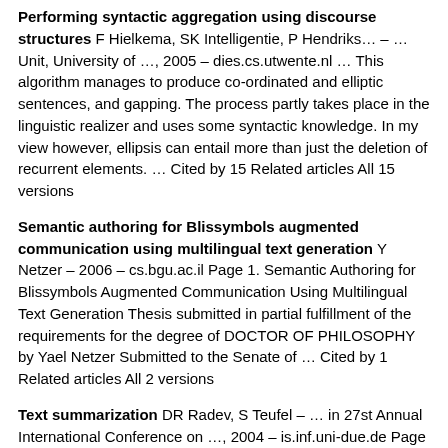Performing syntactic aggregation using discourse structures F Hielkema, SK Intelligentie, P Hendriks… – … Unit, University of …, 2005 – dies.cs.utwente.nl … This algorithm manages to produce co-ordinated and elliptic sentences, and gapping. The process partly takes place in the linguistic realizer and uses some syntactic knowledge. In my view however, ellipsis can entail more than just the deletion of recurrent elements. … Cited by 15 Related articles All 15 versions
Semantic authoring for Blissymbols augmented communication using multilingual text generation Y Netzer – 2006 – cs.bgu.ac.il Page 1. Semantic Authoring for Blissymbols Augmented Communication Using Multilingual Text Generation Thesis submitted in partial fulfillment of the requirements for the degree of DOCTOR OF PHILOSOPHY by Yael Netzer Submitted to the Senate of … Cited by 1 Related articles All 2 versions
Text summarization DR Radev, S Teufel – … in 27st Annual International Conference on …, 2004 – is.inf.uni-due.de Page 1. Text summarization Dragomir R. Radev CLAIR: Computational Linguistics And Information Retrieval group University of Michigan radev umich.edu Tutorial ACM SIGIR